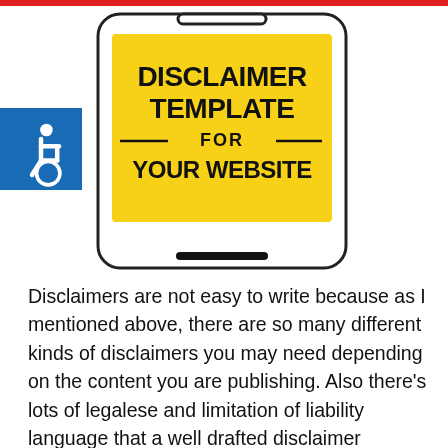[Figure (illustration): A smartphone/tablet device illustration with a yellow screen showing the text 'DISCLAIMER TEMPLATE FOR YOUR WEBSITE' in bold black text. A blue accessibility icon (wheelchair symbol) is overlaid on the left side of the device.]
Disclaimers are not easy to write because as I mentioned above, there are so many different kinds of disclaimers you may need depending on the content you are publishing. Also there's lots of legalese and limitation of liability language that a well drafted disclaimer